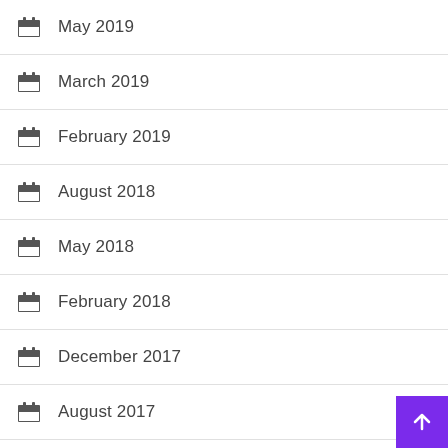May 2019
March 2019
February 2019
August 2018
May 2018
February 2018
December 2017
August 2017
February 2017
October 2016
March 2016
September 2015
April 2015